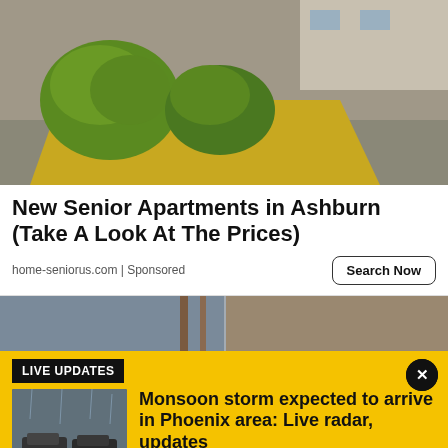[Figure (photo): Outdoor landscaping scene with yellow/gold mulch, green bushes, pavement and building in background]
New Senior Apartments in Ashburn (Take A Look At The Prices)
home-seniorus.com | Sponsored
Search Now
[Figure (photo): Partial background image showing what appears to be a rainy street scene]
LIVE UPDATES
[Figure (photo): Cars driving in heavy rain on wet road]
Monsoon storm expected to arrive in Phoenix area: Live radar, updates
The Phoenix area is expecting another round of monsoon storms as most of the state is under a flood watch through Saturday night. We have the latest on this round of wet weather.